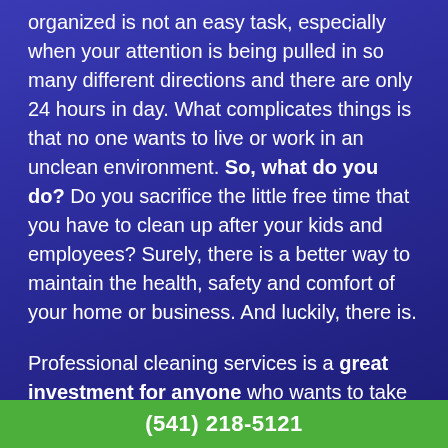organized is not an easy task, especially when your attention is being pulled in so many different directions and there are only 24 hours in day. What complicates things is that no one wants to live or work in an unclean environment. So, what do you do? Do you sacrifice the little free time that you have to clean up after your kids and employees? Surely, there is a better way to maintain the health, safety and comfort of your home or business. And luckily, there is.
Professional cleaning services is a great investment for anyone who wants to take back a big chunk of their free time and still reap the benefits of a clean space. When you hire Custom Building Enterprises, Inc.'s team of professional cleaners to mind the tidiness of your home
(541) 218-5121